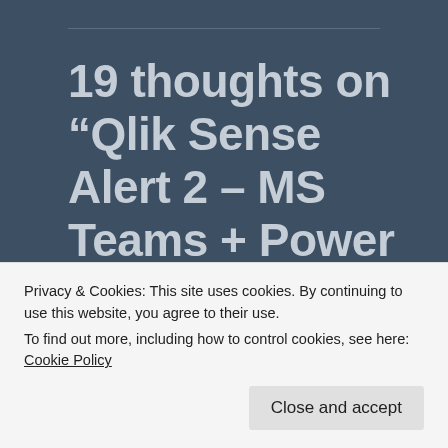19 thoughts on “Qlik Sense Alert 2 – MS Teams + Power Automate”
Wederson
Privacy & Cookies: This site uses cookies. By continuing to use this website, you agree to their use.
To find out more, including how to control cookies, see here: Cookie Policy
Close and accept
intuitive way o: